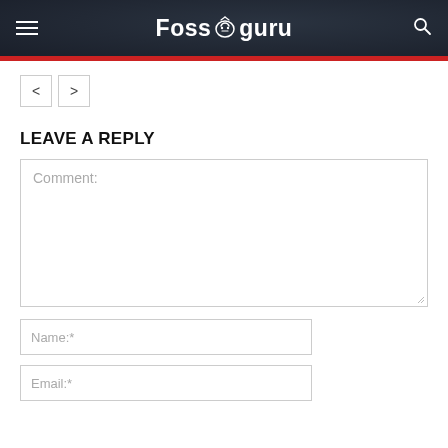Fossguru
[Figure (screenshot): Navigation arrows: left arrow button and right arrow button]
LEAVE A REPLY
Comment:
Name:*
Email:*